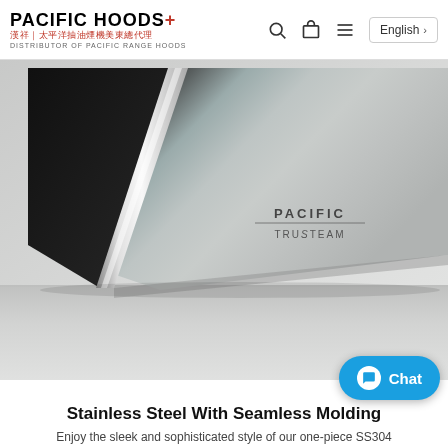PACIFIC HOODS+ 漢祥｜太平洋抽油煙機美東總代理 DISTRIBUTOR OF PACIFIC RANGE HOODS
[Figure (photo): Close-up photo of a Pacific TruSteam stainless steel range hood showing the polished chrome edge, black matte left panel, and brushed stainless steel surface with PACIFIC TruSteam logo engraved.]
Stainless Steel With Seamless Molding
Enjoy the sleek and sophisticated style of our one-piece SS304